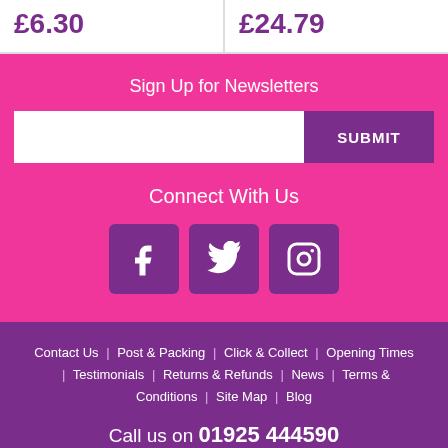| £6.30 | £24.79 |
Sign Up for Newsletters
[Figure (screenshot): Newsletter signup form with email input field and SUBMIT button]
Connect With Us
[Figure (infographic): Social media icons: Facebook, Twitter, Instagram]
Contact Us | Post & Packing | Click & Collect | Opening Times | Testimonials | Returns & Refunds | News | Terms & Conditions | Site Map | Blog
Call us on 01925 444590